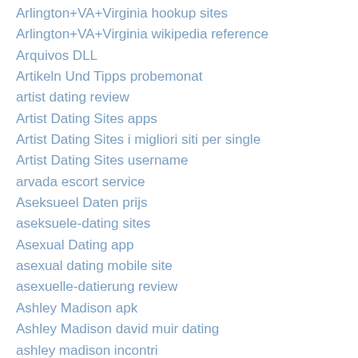Arlington+VA+Virginia hookup sites
Arlington+VA+Virginia wikipedia reference
Arquivos DLL
Artikeln Und Tipps probemonat
artist dating review
Artist Dating Sites apps
Artist Dating Sites i migliori siti per single
Artist Dating Sites username
arvada escort service
Aseksueel Daten prijs
aseksuele-dating sites
Asexual Dating app
asexual dating mobile site
asexuelle-datierung review
Ashley Madison apk
Ashley Madison david muir dating
ashley madison incontri
Ashley Madison kasowac